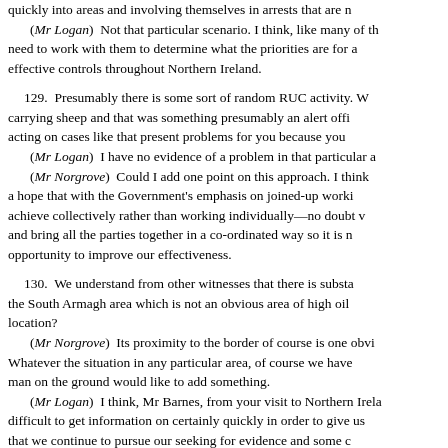quickly into areas and involving themselves in arrests that are n
(Mr Logan)  Not that particular scenario. I think, like many of th
need to work with them to determine what the priorities are for a
effective controls throughout Northern Ireland.
129.  Presumably there is some sort of random RUC activity. W carrying sheep and that was something presumably an alert offi acting on cases like that present problems for you because you
(Mr Logan)  I have no evidence of a problem in that particular a
(Mr Norgrove)  Could I add one point on this approach. I think a hope that with the Government's emphasis on joined-up worki achieve collectively rather than working individually—no doubt v and bring all the parties together in a co-ordinated way so it is n opportunity to improve our effectiveness.
130.  We understand from other witnesses that there is substa the South Armagh area which is not an obvious area of high oil location?
(Mr Norgrove)  Its proximity to the border of course is one obvi Whatever the situation in any particular area, of course we have man on the ground would like to add something.
(Mr Logan)  I think, Mr Barnes, from your visit to Northern Irela difficult to get information on certainly quickly in order to give us that we continue to pursue our seeking for evidence and some c on give evidence to the effect that we have been successful.
131.  Is this a particular area of close co-operation with the RU have a knock-on effect to you?
(Mr Logan)  I think that area has always been difficult to police